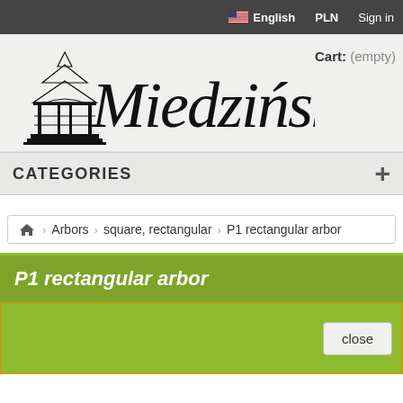English   PLN   Sign in
[Figure (logo): Miedziński brand logo with gazebo illustration and cursive script text]
Cart: (empty)
CATEGORIES
Home > Arbors > square, rectangular > P1 rectangular arbor
P1 rectangular arbor
close